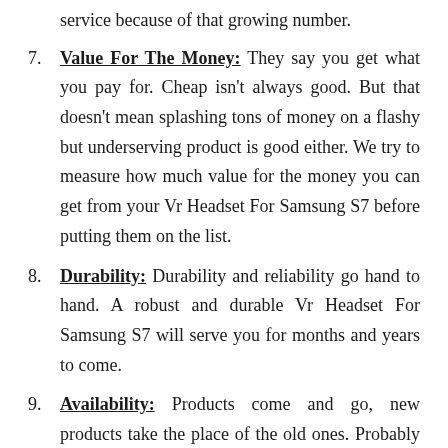service because of that growing number.
7. Value For The Money: They say you get what you pay for. Cheap isn't always good. But that doesn't mean splashing tons of money on a flashy but underserving product is good either. We try to measure how much value for the money you can get from your Vr Headset For Samsung S7 before putting them on the list.
8. Durability: Durability and reliability go hand to hand. A robust and durable Vr Headset For Samsung S7 will serve you for months and years to come.
9. Availability: Products come and go, new products take the place of the old ones. Probably some new features were added, some